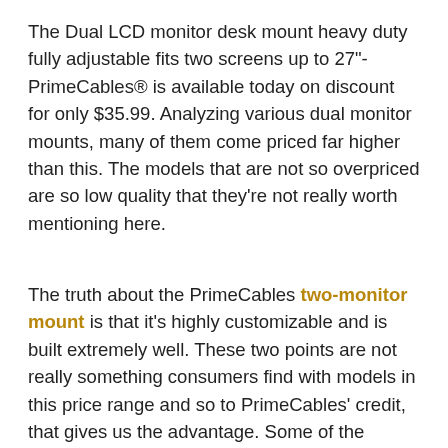The Dual LCD monitor desk mount heavy duty fully adjustable fits two screens up to 27"- PrimeCables® is available today on discount for only $35.99. Analyzing various dual monitor mounts, many of them come priced far higher than this. The models that are not so overpriced are so low quality that they're not really worth mentioning here.
The truth about the PrimeCables two-monitor mount is that it's highly customizable and is built extremely well. These two points are not really something consumers find with models in this price range and so to PrimeCables' credit, that gives us the advantage. Some of the features you'll find in the dual monitor desk mount is a freely adjusting height to allow for optimal ergonomic customizations...